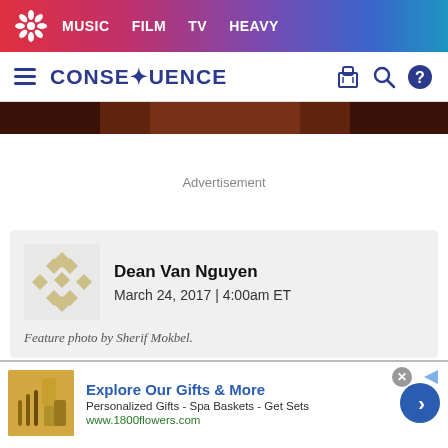MUSIC FILM TV HEAVY
CONSEQUENCE
[Figure (screenshot): Hero image strip showing partial photo of person in brown/burgundy clothing]
Advertisement
Dean Van Nguyen
March 24, 2017 | 4:00am ET
Feature photo by Sherif Mokbel.
Explore Our Gifts & More
Personalized Gifts - Spa Baskets - Get Sets
www.1800flowers.com